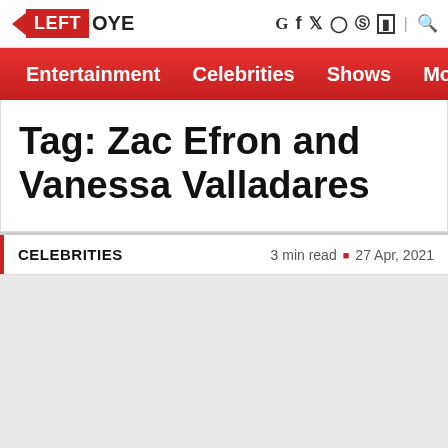LEFT OYE
Entertainment   Celebrities   Shows   Mov
Tag: Zac Efron and Vanessa Valladares
CELEBRITIES   3 min read  •  27 Apr, 2021